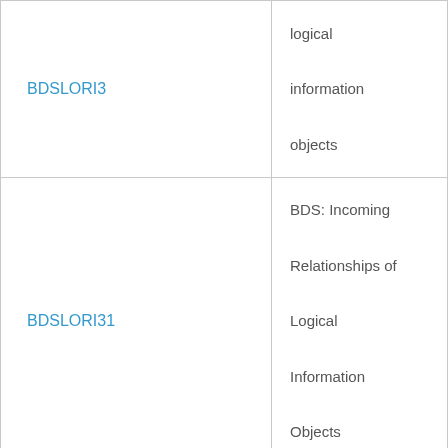| BDSLORI3 | logical information objects |
| BDSLORI31 | BDS: Incoming Relationships of Logical Information Objects |
| BDSLORI6 | BDS: Incoming Relationships of Logical Information... |